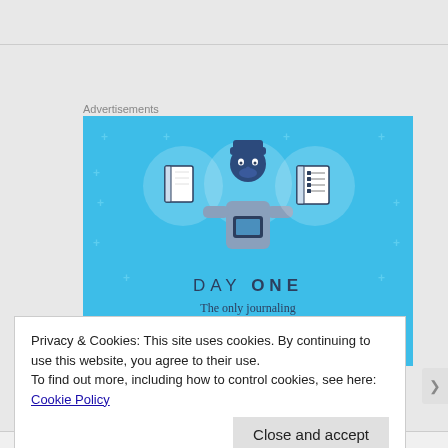Advertisements
[Figure (illustration): Day One journaling app advertisement with blue background, showing a person holding a phone with notebook icons, text 'DAY ONE - The only journaling app you'll ever need.']
Privacy & Cookies: This site uses cookies. By continuing to use this website, you agree to their use.
To find out more, including how to control cookies, see here: Cookie Policy
Close and accept